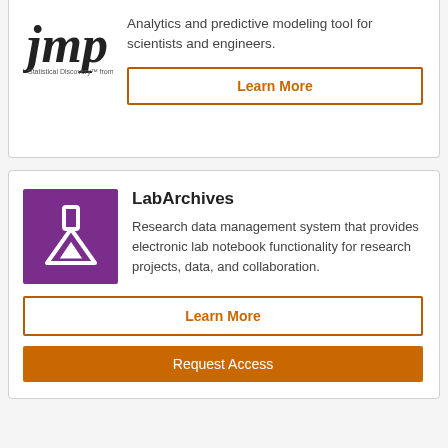[Figure (logo): JMP Statistical Discovery from SAS logo]
Analytics and predictive modeling tool for scientists and engineers.
Learn More
[Figure (logo): LabArchives purple logo with flask/triangle icon]
LabArchives
Research data management system that provides electronic lab notebook functionality for research projects, data, and collaboration.
Learn More
Request Access